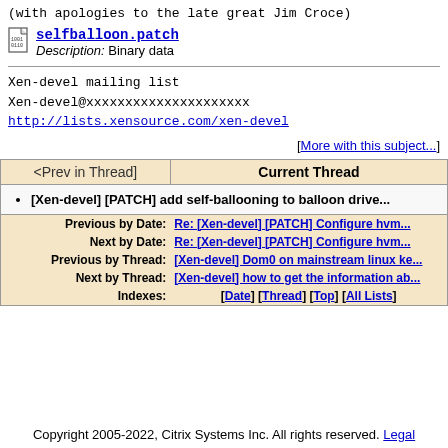(with apologies to the late great Jim Croce)
selfballoon.patch
Description: Binary data
Xen-devel mailing list
Xen-devel@xxxxxxxxxxxxxxxxxxxxx
http://lists.xensource.com/xen-devel
[More with this subject...]
| <Prev in Thread] | Current Thread |
| --- | --- |
| [Xen-devel] [PATCH] add self-ballooning to balloon drive... |  |
| Previous by Date: | Next by Date: | Previous by Thread: | Next by Thread: | Indexes: |
| --- | --- | --- | --- | --- |
| Re: [Xen-devel] [PATCH] Configure hvm... | Re: [Xen-devel] [PATCH] Configure hvm... | [Xen-devel] Dom0 on mainstream linux ke... | [Xen-devel] how to get the information ab... | [Date] [Thread] [Top] [All Lists] |
Copyright 2005-2022, Citrix Systems Inc. All rights reserved. Legal